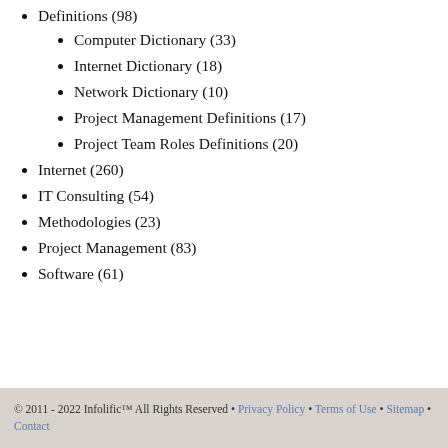Definitions (98)
Computer Dictionary (33)
Internet Dictionary (18)
Network Dictionary (10)
Project Management Definitions (17)
Project Team Roles Definitions (20)
Internet (260)
IT Consulting (54)
Methodologies (23)
Project Management (83)
Software (61)
© 2011 - 2022 Infolific™ All Rights Reserved • Privacy Policy • Terms of Use • Sitemap • Contact